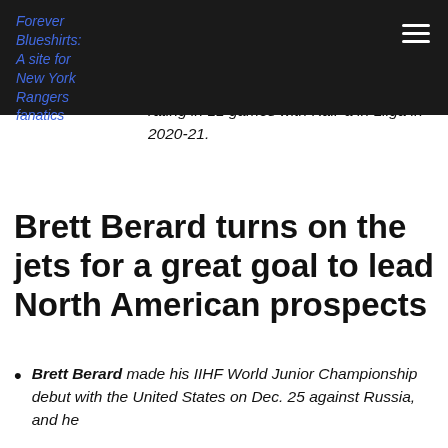Forever Blueshirts: A site for New York Rangers fanatics
has registered two assists and a plus-one rating in 11 games with KalPa in Liiga in 2020-21.
Brett Berard turns on the jets for a great goal to lead North American prospects
Brett Berard made his IIHF World Junior Championship debut with the United States on Dec. 25 against Russia, and he